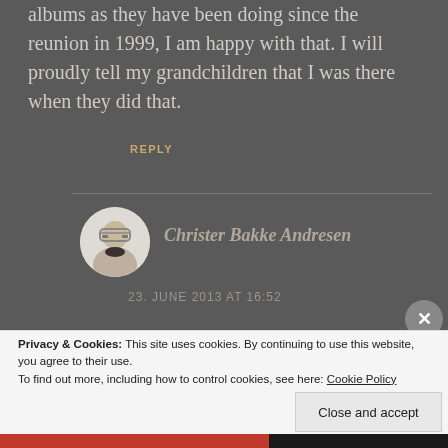albums as they have been doing since the reunion in 1999, I am happy with that. I will proudly tell my grandchildren that I was there when they did that.
REPLY
Christer Bakke Andresen
23. JUNE 2013 AT 16:52
Privacy & Cookies: This site uses cookies. By continuing to use this website, you agree to their use.
To find out more, including how to control cookies, see here: Cookie Policy
Close and accept